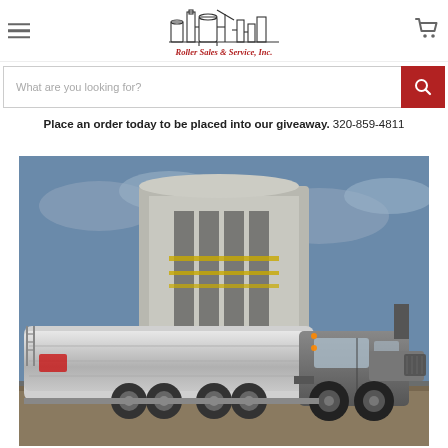[Figure (logo): Roller Sales & Service, Inc. logo with industrial/refinery skyline illustration and red script text]
What are you looking for?
Place an order today to be placed into our giveaway. 320-859-4811
[Figure (photo): A large stainless steel tanker truck parked in front of an industrial storage facility under a cloudy blue sky]